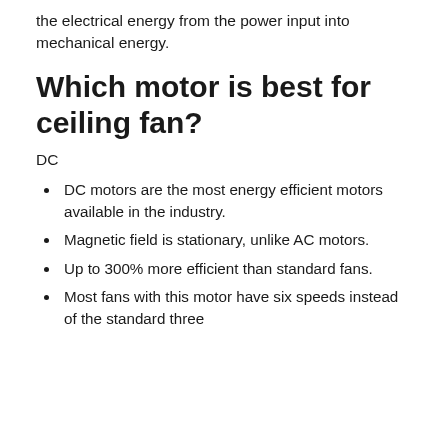the electrical energy from the power input into mechanical energy.
Which motor is best for ceiling fan?
DC
DC motors are the most energy efficient motors available in the industry.
Magnetic field is stationary, unlike AC motors.
Up to 300% more efficient than standard fans.
Most fans with this motor have six speeds instead of the standard three